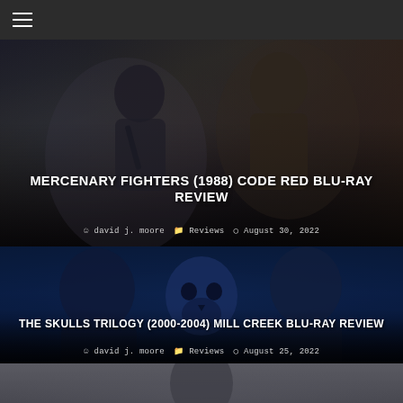≡
[Figure (photo): Action movie promotional image for Mercenary Fighters (1988), dark tones with figure holding weapon]
MERCENARY FIGHTERS (1988) CODE RED BLU-RAY REVIEW
david j. moore   Reviews   August 30, 2022
[Figure (photo): Blue-tinted promotional image for The Skulls Trilogy (2000-2004) showing two actors and a skull]
THE SKULLS TRILOGY (2000-2004) MILL CREEK BLU-RAY REVIEW
david j. moore   Reviews   August 25, 2022
[Figure (photo): Partial view of a third movie card, gray tones]